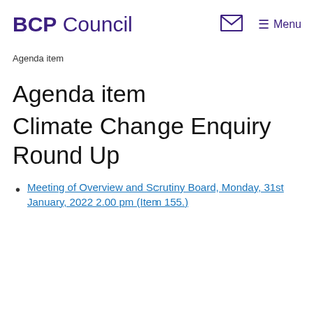BCP Council
Agenda item
Agenda item
Climate Change Enquiry Round Up
Meeting of Overview and Scrutiny Board, Monday, 31st January, 2022 2.00 pm (Item 155.)